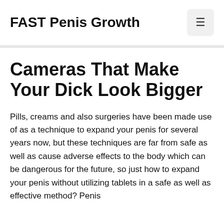FAST Penis Growth
Cameras That Make Your Dick Look Bigger
Pills, creams and also surgeries have been made use of as a technique to expand your penis for several years now, but these techniques are far from safe as well as cause adverse effects to the body which can be dangerous for the future, so just how to expand your penis without utilizing tablets in a safe as well as effective method? Penis